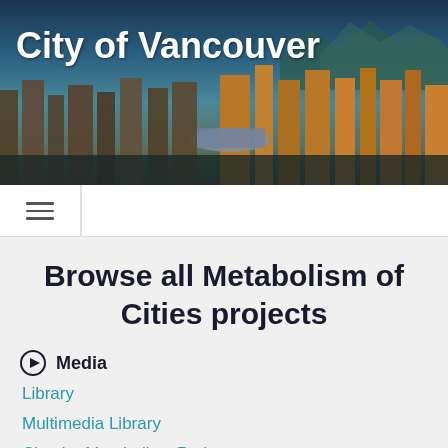[Figure (photo): City of Vancouver skyline hero image with mountains in background at dusk/sunset, showing high-rise buildings and waterfront]
City of Vancouver
Navigation menu (hamburger icon)
Browse all Metabolism of Cities projects
Media
Library
Multimedia Library
Circular Metabolism Podcast
Community